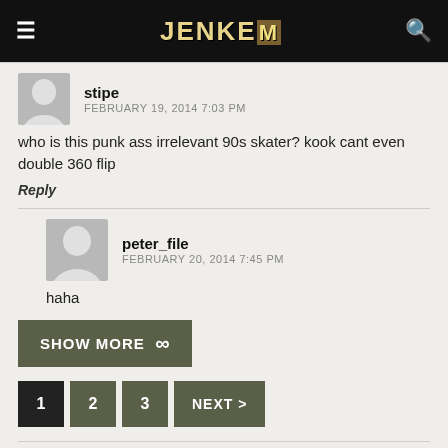JENKEM
stipe
FEBRUARY 19, 2014 7:03 PM
who is this punk ass irrelevant 90s skater? kook cant even double 360 flip
Reply
peter_file
FEBRUARY 20, 2014 7:45 PM
haha
SHOW MORE ∞
1  2  3  NEXT >
LEAVE A COMMENT
Comment